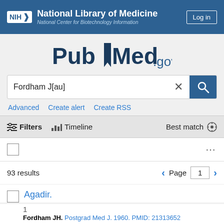NIH National Library of Medicine | National Center for Biotechnology Information | Log in
[Figure (logo): PubMed.gov logo]
Fordham J[au]
Advanced   Create alert   Create RSS
Filters   Timeline   Best match
93 results   Page 1
Agadir.
Fordham JH. Postgrad Med J. 1960. PMID: 21313652
Free PMC article. No abstract available.